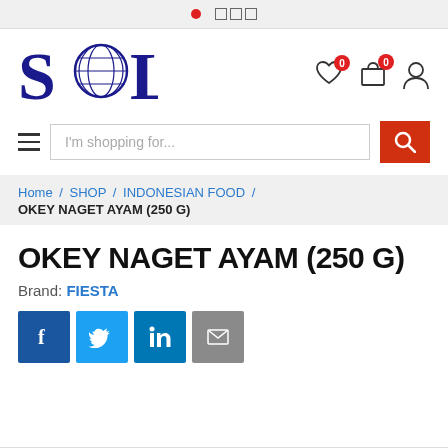● □□□
[Figure (logo): SOL globe logo in dark blue serif font]
I'm shopping for...
Home / SHOP / INDONESIAN FOOD / OKEY NAGET AYAM (250 G)
OKEY NAGET AYAM (250 G)
Brand: FIESTA
[Figure (infographic): Social share buttons: Facebook, Twitter, LinkedIn, Email]